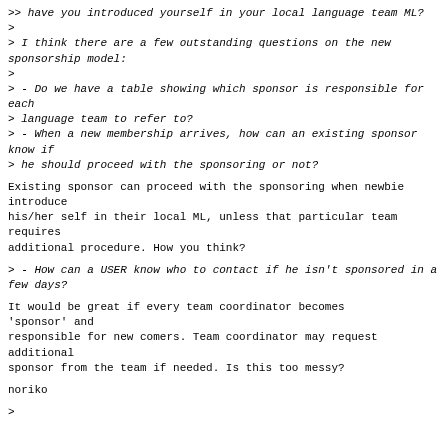>> have you introduced yourself in your local language team ML?
>
> I think there are a few outstanding questions on the new sponsorship model:
>
> - Do we have a table showing which sponsor is responsible for each
> language team to refer to?
> - When a new membership arrives, how can an existing sponsor know if
> he should proceed with the sponsoring or not?
Existing sponsor can proceed with the sponsoring when newbie introduce
his/her self in their local ML, unless that particular team requires
additional procedure. How you think?
> - How can a USER know who to contact if he isn't sponsored in a few days?
It would be great if every team coordinator becomes 'sponsor' and
responsible for new comers. Team coordinator may request additional
sponsor from the team if needed. Is this too messy?
noriko
>